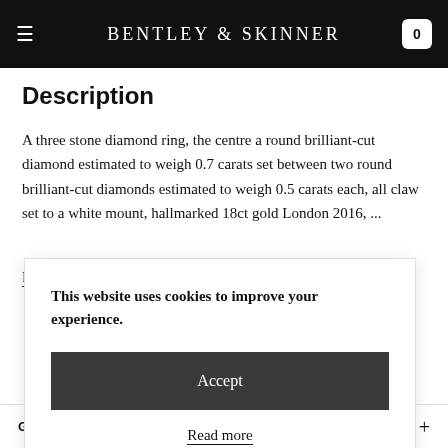BENTLEY & SKINNER
Description
A three stone diamond ring, the centre a round brilliant-cut diamond estimated to weigh 0.7 carats set between two round brilliant-cut diamonds estimated to weigh 0.5 carats each, all claw set to a white mount, hallmarked 18ct gold London 2016, ...
Read more
This website uses cookies to improve your experience.
Accept
Read more
Giftwrapping & After Sales Service